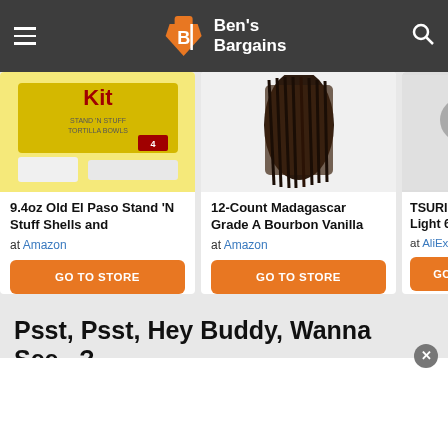Ben's Bargains
[Figure (screenshot): Product card: 9.4oz Old El Paso Stand 'N Stuff Shells and at Amazon, GO TO STORE button]
[Figure (screenshot): Product card: 12-Count Madagascar Grade A Bourbon Vanilla at Amazon, GO TO STORE button]
[Figure (screenshot): Product card: TSURINOYA Light 6.1g S at AliExpress, GO TO button (partially visible)]
Psst, Psst, Hey Buddy, Wanna See...?
Recommended searches from our editors.